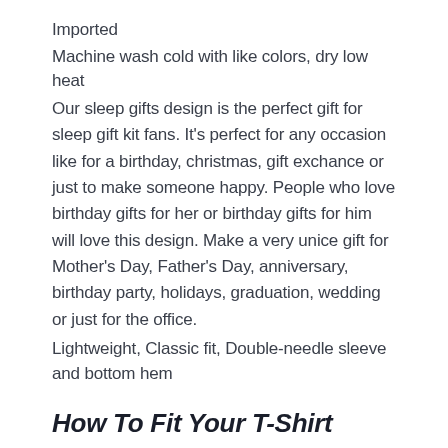Imported
Machine wash cold with like colors, dry low heat
Our sleep gifts design is the perfect gift for sleep gift kit fans. It’s perfect for any occasion like for a birthday, christmas, gift exchance or just to make someone happy. People who love birthday gifts for her or birthday gifts for him will love this design. Make a very unice gift for Mother’s Day, Father’s Day, anniversary, birthday party, holidays, graduation, wedding or just for the office.
Lightweight, Classic fit, Double-needle sleeve and bottom hem
How To Fit Your T-Shirt
Fitting your Wheel of Fortune – Go To Bed. Funny Sleep Design Gift Quote T-Shirt tee is extremely crucial. The t-